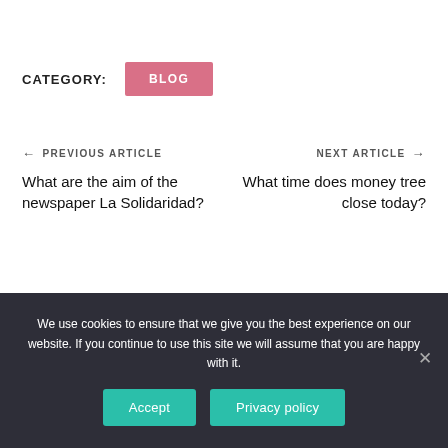CATEGORY:  BLOG
← PREVIOUS ARTICLE
What are the aim of the newspaper La Solidaridad?
NEXT ARTICLE →
What time does money tree close today?
We use cookies to ensure that we give you the best experience on our website. If you continue to use this site we will assume that you are happy with it.
Accept
Privacy policy